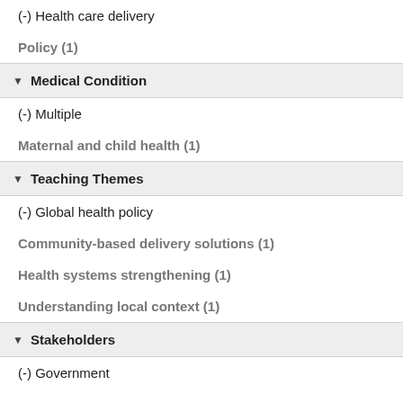(-) Health care delivery
Policy (1)
▼ Medical Condition
(-) Multiple
Maternal and child health (1)
▼ Teaching Themes
(-) Global health policy
Community-based delivery solutions (1)
Health systems strengthening (1)
Understanding local context (1)
▼ Stakeholders
(-) Government